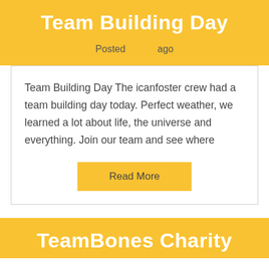Team Building Day
Posted 1 year ago
Team Building Day The icanfoster crew had a team building day today. Perfect weather, we learned a lot about life, the universe and everything. Join our team and see where
Read More
TeamBones Charity